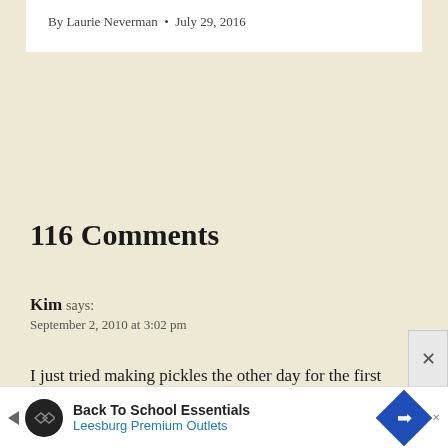By Laurie Neverman • July 29, 2016
116 Comments
Kim says:
September 2, 2010 at 3:02 pm
I just tried making pickles the other day for the first time
[Figure (other): Advertisement banner for Back To School Essentials at Leesburg Premium Outlets with a close button (×) on the right side.]